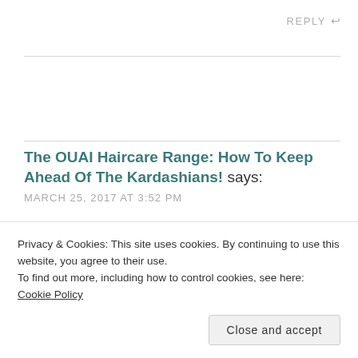REPLY ↩
The OUAI Haircare Range: How To Keep Ahead Of The Kardashians! says:
MARCH 25, 2017 AT 3:52 PM
[…] you enjoyed this Hair and Beauty post, be sure to check out more, including my Kylie Jenner
Privacy & Cookies: This site uses cookies. By continuing to use this website, you agree to their use. To find out more, including how to control cookies, see here: Cookie Policy
Close and accept